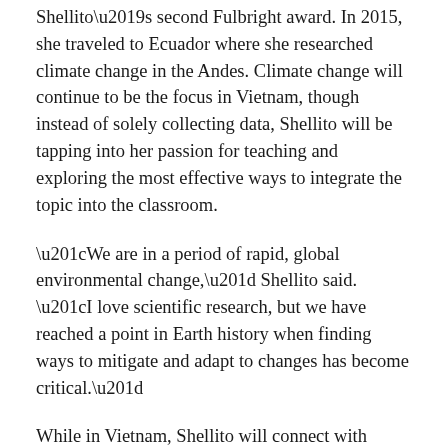Shellito's second Fulbright award. In 2015, she traveled to Ecuador where she researched climate change in the Andes. Climate change will continue to be the focus in Vietnam, though instead of solely collecting data, Shellito will be tapping into her passion for teaching and exploring the most effective ways to integrate the topic into the classroom.
“We are in a period of rapid, global environmental change,” Shellito said. “I love scientific research, but we have reached a point in Earth history when finding ways to mitigate and adapt to changes has become critical.”
While in Vietnam, Shellito will connect with fellow professors. Faculty instructors within the University of Dalat’s Department of Chemistry and the Environment, located in the southern portion of the country, will work collaboratively with Shellito to develop an engaging university curriculum focused on weather and the climate.